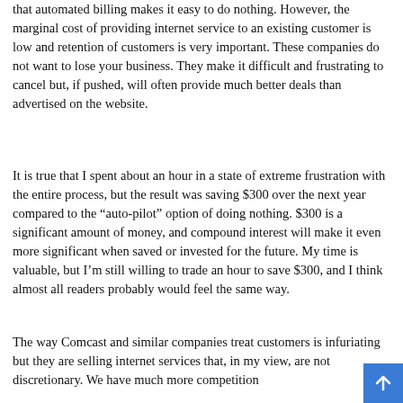that automated billing makes it easy to do nothing.  However, the marginal cost of providing internet service to an existing customer is low and retention of customers is very important.  These companies do not want to lose your business.  They make it difficult and frustrating to cancel but, if pushed, will often provide much better deals than advertised on the website.
It is true that I spent about an hour in a state of extreme frustration with the entire process, but the result was saving $300 over the next year compared to the “auto-pilot” option of doing nothing.  $300 is a significant amount of money, and compound interest will make it even more significant when saved or invested for the future.  My time is valuable, but I’m still willing to trade an hour to save $300, and I think almost all readers probably would feel the same way.
The way Comcast and similar companies treat customers is infuriating but they are selling internet services that, in my view, are not discretionary.  We have much more competition